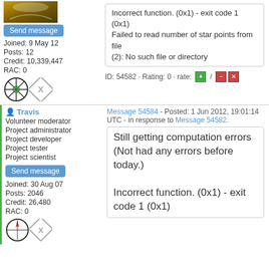[Figure (photo): User avatar image with gold/dark colors]
Send message
Joined: 9 May 12
Posts: 12
Credit: 10,339,447
RAC: 0
[Figure (illustration): Badge icons: star circle and X diamond]
Incorrect function. (0x1) - exit code 1 (0x1)
Failed to read number of star points from file
(2): No such file or directory
ID: 54582 · Rating: 0 · rate: [+] / [-] [x]
Travis - Volunteer moderator, Project administrator, Project developer, Project tester, Project scientist
Send message
Joined: 30 Aug 07
Posts: 2046
Credit: 26,480
RAC: 0
Message 54584 - Posted: 1 Jun 2012, 19:01:14 UTC - in response to Message 54582.
Still getting computation errors
(Not had any errors before today.)

Incorrect function. (0x1) - exit code 1 (0x1)